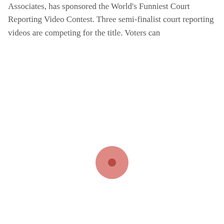Associates, has sponsored the World's Funniest Court Reporting Video Contest. Three semi-finalist court reporting videos are competing for the title. Voters can
[Figure (other): A pink/salmon colored circle with a darker center dot, resembling a video play button or recording indicator]